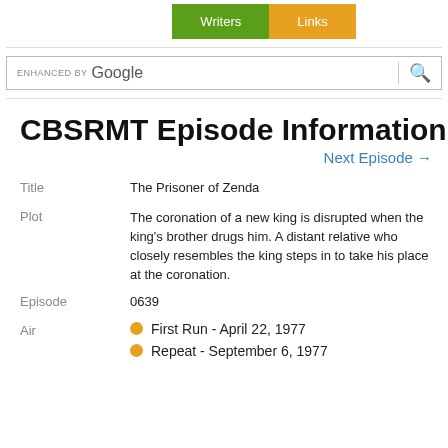[Figure (other): Navigation buttons: Writers (green) and Links (orange)]
[Figure (screenshot): Enhanced by Google search bar with magnifying glass icon]
CBSRMT Episode Information
Next Episode →
| Title | The Prisoner of Zenda |
| Plot | The coronation of a new king is disrupted when the king's brother drugs him. A distant relative who closely resembles the king steps in to take his place at the coronation. |
| Episode | 0639 |
| Air | First Run - April 22, 1977
Repeat - September 6, 1977 |